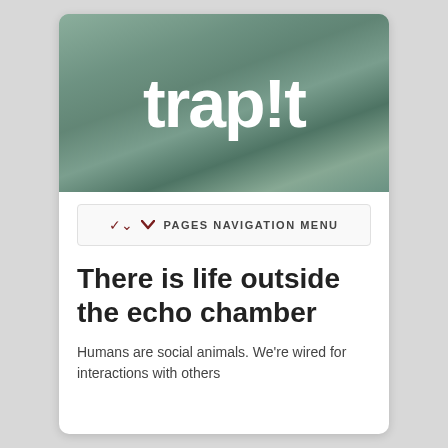[Figure (logo): trap!t logo in large white bold text on a muted green/teal blurred background banner]
PAGES NAVIGATION MENU
There is life outside the echo chamber
Humans are social animals. We're wired for interactions with others